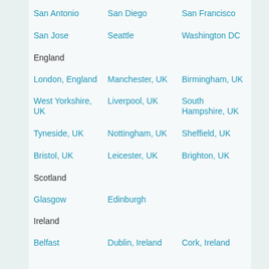San Antonio
San Diego
San Francisco
San Jose
Seattle
Washington DC
England
London, England
Manchester, UK
Birmingham, UK
West Yorkshire, UK
Liverpool, UK
South Hampshire, UK
Tyneside, UK
Nottingham, UK
Sheffield, UK
Bristol, UK
Leicester, UK
Brighton, UK
Scotland
Glasgow
Edinburgh
Ireland
Belfast
Dublin, Ireland
Cork, Ireland